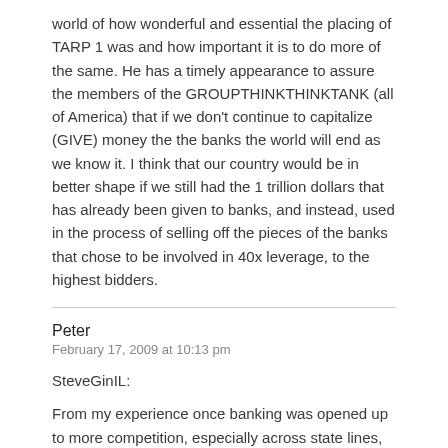world of how wonderful and essential the placing of TARP 1 was and how important it is to do more of the same. He has a timely appearance to assure the members of the GROUPTHINKTHINKTANK (all of America) that if we don't continue to capitalize (GIVE) money the the banks the world will end as we know it. I think that our country would be in better shape if we still had the 1 trillion dollars that has already been given to banks, and instead, used in the process of selling off the pieces of the banks that chose to be involved in 40x leverage, to the highest bidders.
Peter
February 17, 2009 at 10:13 pm
SteveGinIL:
From my experience once banking was opened up to more competition, especially across state lines, the services offered